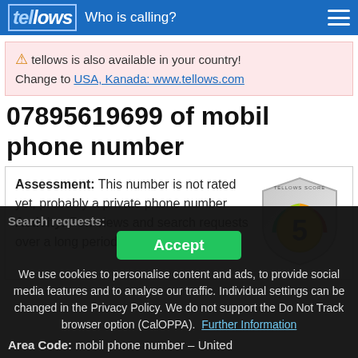tellows – Who is calling?
⚠ tellows is also available in your country! Change to USA, Kanada: www.tellows.com
07895619699 of mobil phone number
Assessment: This number is not rated yet, probably a private phone number Activity: Few views and search requests over a long period of time
[Figure (infographic): Tellows Score badge showing score 5 on a shield with green-to-red gradient arc]
Search requests:
Accept
We use cookies to personalise content and ads, to provide social media features and to analyse our traffic. Individual settings can be changed in the Privacy Policy. We do not support the Do Not Track browser option (CalOPPA). Further Information
Area Code: mobil phone number – United